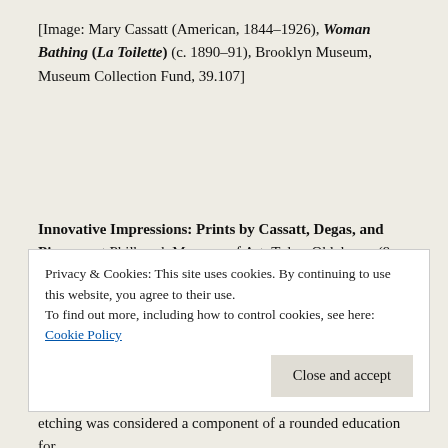[Image: Mary Cassatt (American, 1844–1926), Woman Bathing (La Toilette) (c. 1890–91), Brooklyn Museum, Museum Collection Fund, 39.107]
Innovative Impressions: Prints by Cassatt, Degas, and Pissarro at Philbrook Museum of Art, Tulsa, Oklahoma (9 June-9 September 2018) examines the three most prominent printmaking painters of the Impressionist movement: Mary Cassatt (1844-1926), Edgar Degas (1834-1917) and Camille Pissarro (1855-1903). The exhibition is reviewed from the catalogue.
Privacy & Cookies: This site uses cookies. By continuing to use this website, you agree to their use.
To find out more, including how to control cookies, see here: Cookie Policy
etching was considered a component of a rounded education for